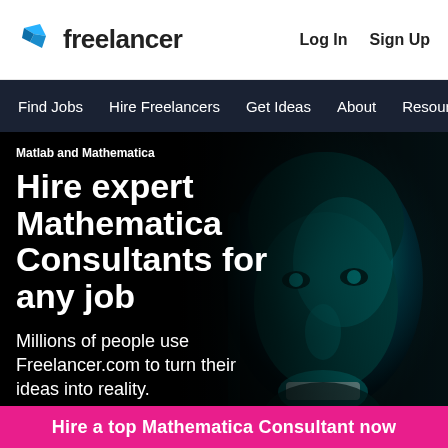freelancer  Log In  Sign Up
Find Jobs  Hire Freelancers  Get Ideas  About  Resources
Matlab and Mathematica
Hire expert Mathematica Consultants for any job
Millions of people use Freelancer.com to turn their ideas into reality.
[Figure (photo): Close-up portrait of a smiling man with cyan/teal toned lighting against a dark background]
Hire a top Mathematica Consultant now